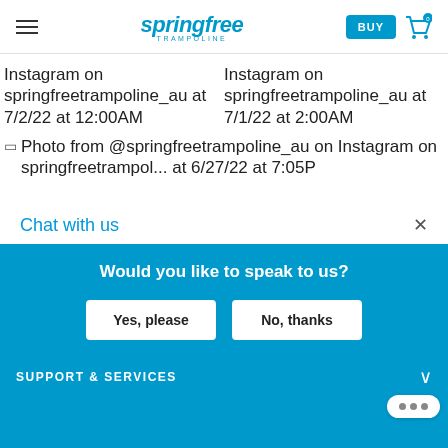Springfree Trampoline — BUY | Cart (0)
Instagram on springfreetrampoline_au at 7/2/22 at 12:00AM
Instagram on springfreetrampoline_au at 7/1/22 at 2:00AM
[Figure (screenshot): Broken image placeholder with alt text: Photo from @springfreetrampoline_au on Instagram on springfreetrampoline_au at 6/27/22 at 7:05P]
Chat with us
Would you like to speak to us?
Yes, please
No, thanks
OUR TRAMPO
MORE INFO
SUPPORT & SERVICES